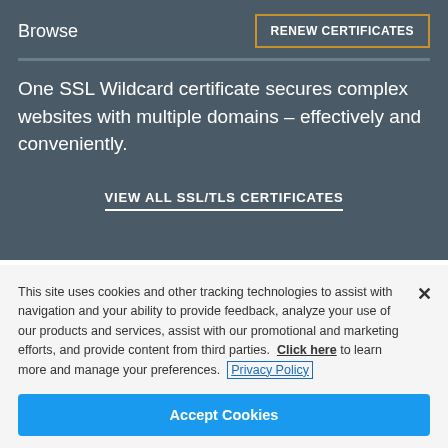Browse
RENEW CERTIFICATES
One SSL Wildcard certificate secures complex websites with multiple domains – effectively and conveniently.
VIEW ALL SSL/TLS CERTIFICATES
This site uses cookies and other tracking technologies to assist with navigation and your ability to provide feedback, analyze your use of our products and services, assist with our promotional and marketing efforts, and provide content from third parties. Click here to learn more and manage your preferences. Privacy Policy
Accept Cookies